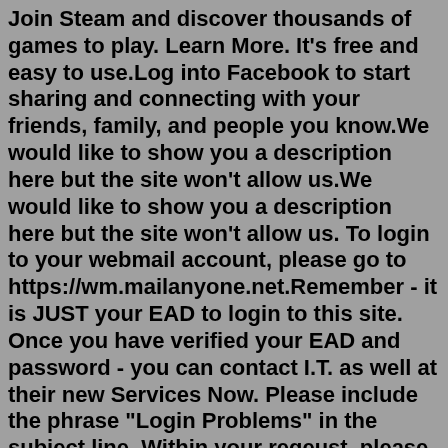Join Steam and discover thousands of games to play. Learn More. It's free and easy to use.Log into Facebook to start sharing and connecting with your friends, family, and people you know.We would like to show you a description here but the site won't allow us.We would like to show you a description here but the site won't allow us. To login to your webmail account, please go to https://wm.mailanyone.net.Remember - it is JUST your EAD to login to this site. Once you have verified your EAD and password - you can contact I.T. as well at their new Services Now. Please include the phrase "Login Problems" in the subject line. Within your reqeust, please state 1) your name, 2) your employee ID, and 3) that you are trying to access Elearning.Explore How To Create an Online Store. Watch in-depth videos about our ecommerce solutions and how to sell online. We would like to show you a description here but the site won't allow us. Email, phone, or Skype. No account? Create one! Can't